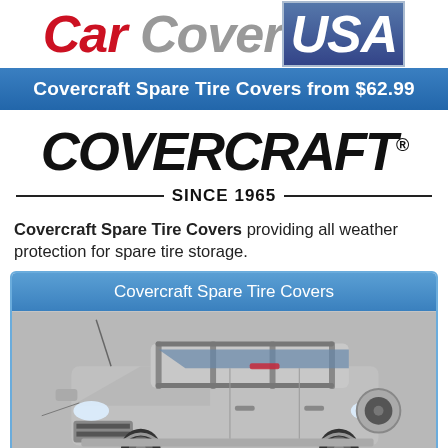[Figure (logo): Car Cover USA logo with italic bold text: 'Car' in red, 'Cover' in gray, 'USA' in white on blue gradient background]
Covercraft Spare Tire Covers from $62.99
[Figure (logo): COVERCRAFT® brand logo in large bold black italic text]
SINCE 1965
Covercraft Spare Tire Covers providing all weather protection for spare tire storage.
Covercraft Spare Tire Covers
[Figure (photo): Photo of a silver SUV (Toyota FJ Cruiser type) viewed from the front-right angle on a gray background]